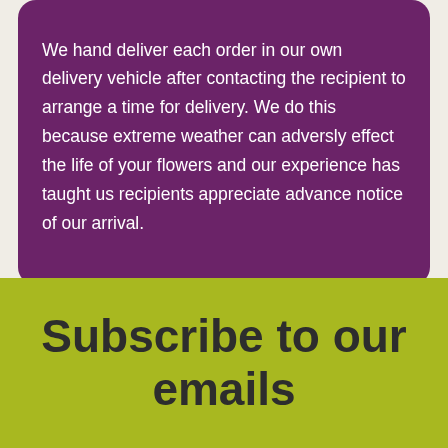We hand deliver each order in our own delivery vehicle after contacting the recipient to arrange a time for delivery. We do this because extreme weather can adversly effect the life of your flowers and our experience has taught us recipients appreciate advance notice of our arrival.
Subscribe to our emails